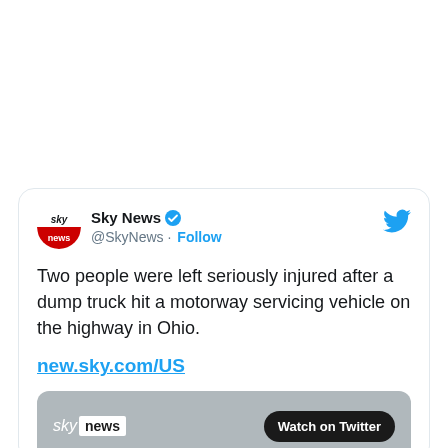[Figure (screenshot): A tweet from Sky News (@SkyNews) with verified badge and Follow button. Tweet text: 'Two people were left seriously injured after a dump truck hit a motorway servicing vehicle on the highway in Ohio.' with link new.sky.com/US and a media preview thumbnail showing Sky News logo and 'Watch on Twitter' button.]